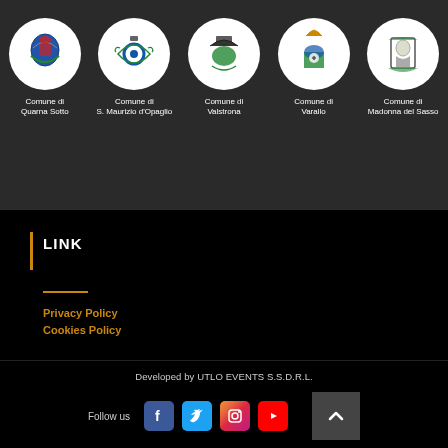[Figure (logo): Five municipal coat of arms in circular white backgrounds: Comune di Quarna Sotto, Comune di S. Maurizio d'Opaglio, Comune di Valstrona, Comune di Varallo, Comune di Madonna del Sasso]
LINK
Privacy Policy
Cookies Policy
Developed by UTLO EVENTS S.S.D.R.L.
Follow us
[Figure (logo): Social media icons: Facebook, Twitter, Instagram, YouTube]